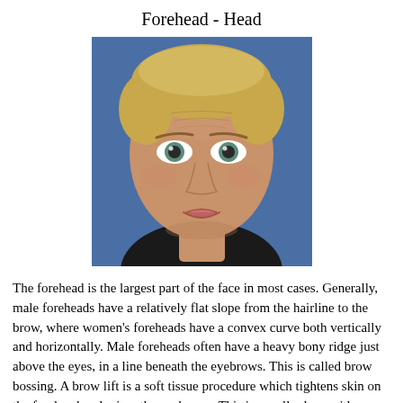Forehead - Head
[Figure (photo): Close-up photo of a middle-aged woman with short blonde hair and wide eyes against a blue background, demonstrating forehead and facial anatomy.]
The forehead is the largest part of the face in most cases. Generally, male foreheads have a relatively flat slope from the hairline to the brow, where women's foreheads have a convex curve both vertically and horizontally. Male foreheads often have a heavy bony ridge just above the eyes, in a line beneath the eyebrows. This is called brow bossing. A brow lift is a soft tissue procedure which tightens skin on the forehead and raises the eyebrows. This is usually done with an incision at the hairline, or endoscopically from smaller incisions within the scalp hair. This